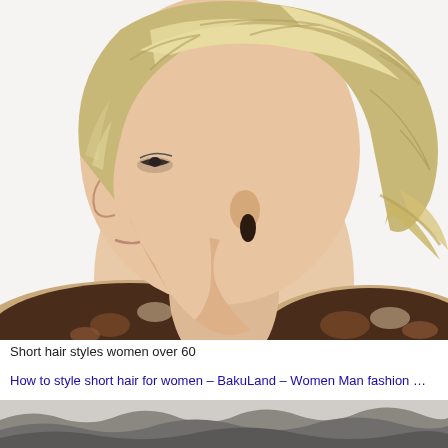[Figure (photo): Side profile photo of a woman with short, layered, highlighted blonde hair styled in a textured, feathered cut. She is wearing a dark oval earring and a patterned top with brown and white design. White background.]
Short hair styles women over 60
How to style short hair for women – BakuLand – Women Man fashion …
[Figure (photo): Partial top-of-head photo showing short, wavy grey/dark hair of a woman, cropped at the bottom of the page.]